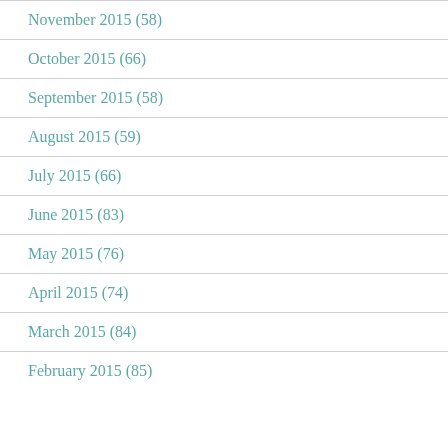November 2015 (58)
October 2015 (66)
September 2015 (58)
August 2015 (59)
July 2015 (66)
June 2015 (83)
May 2015 (76)
April 2015 (74)
March 2015 (84)
February 2015 (85)